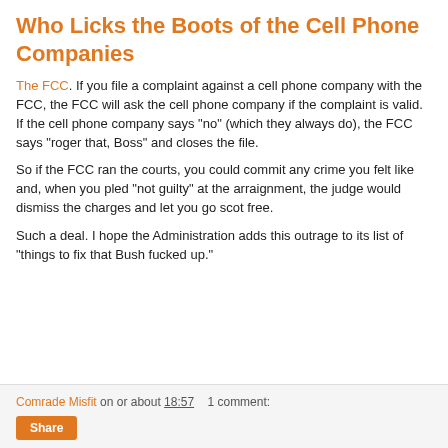Who Licks the Boots of the Cell Phone Companies
The FCC. If you file a complaint against a cell phone company with the FCC, the FCC will ask the cell phone company if the complaint is valid. If the cell phone company says "no" (which they always do), the FCC says "roger that, Boss" and closes the file.
So if the FCC ran the courts, you could commit any crime you felt like and, when you pled "not guilty" at the arraignment, the judge would dismiss the charges and let you go scot free.
Such a deal. I hope the Administration adds this outrage to its list of "things to fix that Bush fucked up."
Comrade Misfit on or about 18:57    1 comment:  Share